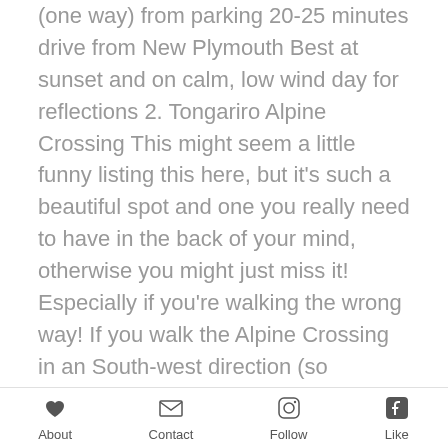...Approximately 2 hours walk (one way) from parking 20-25 minutes drive from New Plymouth Best at sunset and on calm, low wind day for reflections 2. Tongariro Alpine Crossing This might seem a little funny listing this here, but it's such a beautiful spot and one you really need to have in the back of your mind, otherwise you might just miss it! Especially if you're walking the wrong way! If you walk the Alpine Crossing in an South-west direction (so heading towards the Mangatepopo carpark from the
About | Contact | Follow | Like